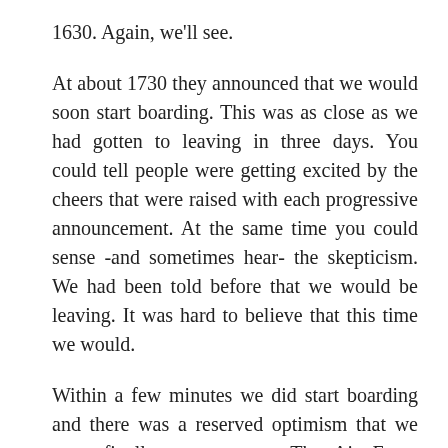1630. Again, we'll see.
At about 1730 they announced that we would soon start boarding. This was as close as we had gotten to leaving in three days. You could tell people were getting excited by the cheers that were raised with each progressive announcement. At the same time you could sense -and sometimes hear- the skepticism. We had been told before that we would be leaving. It was hard to believe that this time we would.
Within a few minutes we did start boarding and there was a reserved optimism that we were finally on our way. The Air Force personnel had to do another roll call once we were on the plane, delaying our departure a little longer.